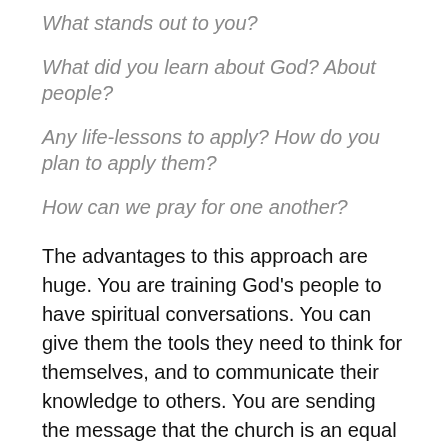What stands out to you?
What did you learn about God? About people?
Any life-lessons to apply? How do you plan to apply them?
How can we pray for one another?
The advantages to this approach are huge. You are training God’s people to have spiritual conversations. You can give them the tools they need to think for themselves, and to communicate their knowledge to others. You are sending the message that the church is an equal laity under the headship of Christ, not artificially